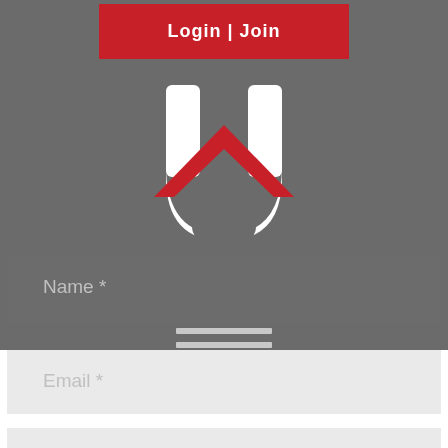[Figure (screenshot): Website UI screenshot showing a login/join button, a logo icon, hamburger menu, and form fields for Name, Email, Website, plus a Submit Comment button and shopping cart overlay]
Login | Join
Name *
Email *
Website
Submit Comment